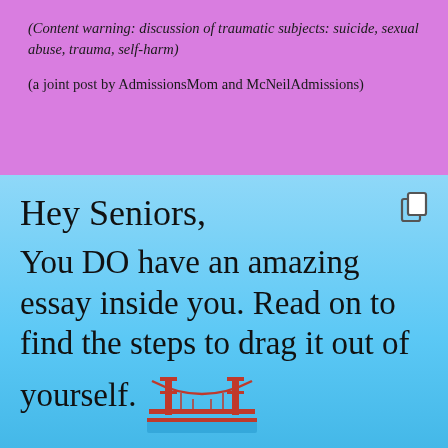(Content warning: discussion of traumatic subjects: suicide, sexual abuse, trauma, self-harm)
(a joint post by AdmissionsMom and McNeilAdmissions)
Hey Seniors,
You DO have an amazing essay inside you. Read on to find the steps to drag it out of yourself.